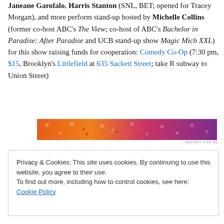Janeane Garofalo, Harris Stanton (SNL, BET; opened for Tracey Morgan), and more perform stand-up hosted by Michelle Collins (former co-host ABC's The View; co-host of ABC's Bachelor in Paradise: After Paradise and UCB stand-up show Magic Mich XXL) for this show raising funds for cooperation: Comedy Co-Op (7:30 pm, $15, Brooklyn's Littlefield at 635 Sackett Street; take R subway to Union Street)
[Figure (photo): Colorful gradient banner advertisement with orange, red, and purple tones featuring decorative patterns.]
Privacy & Cookies: This site uses cookies. By continuing to use this website, you agree to their use. To find out more, including how to control cookies, see here: Cookie Policy